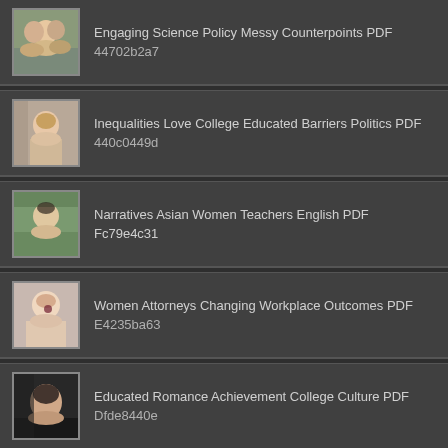Engaging Science Policy Messy Counterpoints PDF 44702b2a7
Inequalities Love College Educated Barriers Politics PDF 440c0449d
Narratives Asian Women Teachers English PDF Fc79e4c31
Women Attorneys Changing Workplace Outcomes PDF E4235ba63
Educated Romance Achievement College Culture PDF Dfde8440e